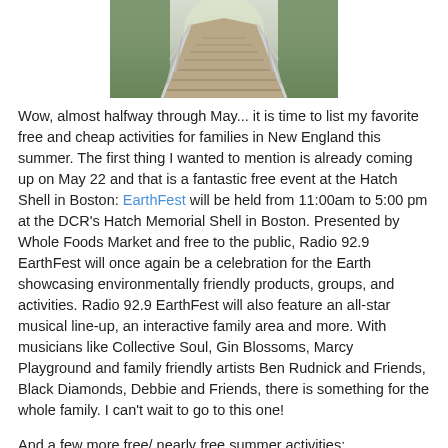[Figure (photo): A wooden boardwalk/bridge with metal railings, photographed from a low angle leading into a forested area, partially cropped at the top.]
Wow, almost halfway through May... it is time to list my favorite free and cheap activities for families in New England this summer. The first thing I wanted to mention is already coming up on May 22 and that is a fantastic free event at the Hatch Shell in Boston: EarthFest will be held from 11:00am to 5:00 pm at the DCR's Hatch Memorial Shell in Boston. Presented by Whole Foods Market and free to the public, Radio 92.9 EarthFest will once again be a celebration for the Earth showcasing environmentally friendly products, groups, and activities. Radio 92.9 EarthFest will also feature an all-star musical line-up, an interactive family area and more. With musicians like Collective Soul, Gin Blossoms, Marcy Playground and family friendly artists Ben Rudnick and Friends, Black Diamonds, Debbie and Friends, there is something for the whole family. I can't wait to go to this one!
And a few more free/ nearly free summer activities: